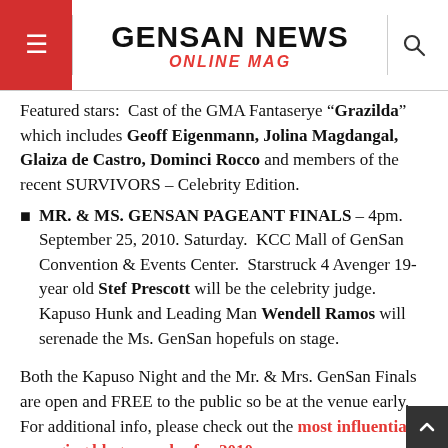GENSAN NEWS ONLINE MAG
Featured stars:  Cast of the GMA Fantaserye “Grazilda” which includes Geoff Eigenmann, Jolina Magdangal, Glaiza de Castro, Dominci Rocco and members of the recent SURVIVORS – Celebrity Edition.
MR. & MS. GENSAN PAGEANT FINALS – 4pm. September 25, 2010. Saturday.  KCC Mall of GenSan Convention & Events Center.  Starstruck 4 Avenger 19-year old Stef Prescott will be the celebrity judge.  Kapuso Hunk and Leading Man Wendell Ramos will serenade the Ms. GenSan hopefuls on stage.
Both the Kapuso Night and the Mr. & Mrs. GenSan Finals are open and FREE to the public so be at the venue early.  For additional info, please check out the most influential emerging blog awardee for 2010.
Thank you Kapuso for continuing to help enliven GenSan's Festival...